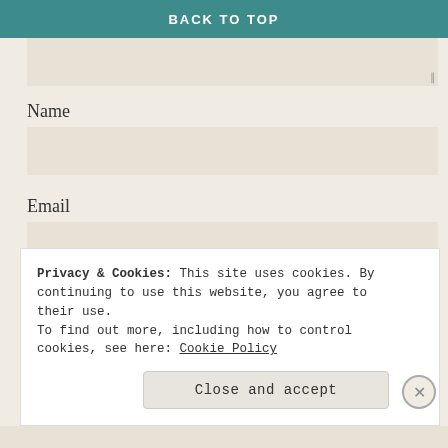BACK TO TOP
Name
Email
Website
Privacy & Cookies: This site uses cookies. By continuing to use this website, you agree to their use. To find out more, including how to control cookies, see here: Cookie Policy
Close and accept